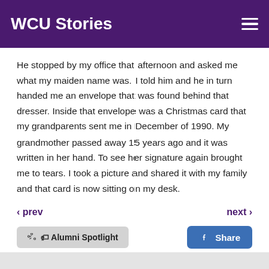WCU Stories
He stopped by my office that afternoon and asked me what my maiden name was. I told him and he in turn handed me an envelope that was found behind that dresser. Inside that envelope was a Christmas card that my grandparents sent me in December of 1990. My grandmother passed away 15 years ago and it was written in her hand. To see her signature again brought me to tears. I took a picture and shared it with my family and that card is now sitting on my desk.
< prev
next >
Alumni Spotlight
Share